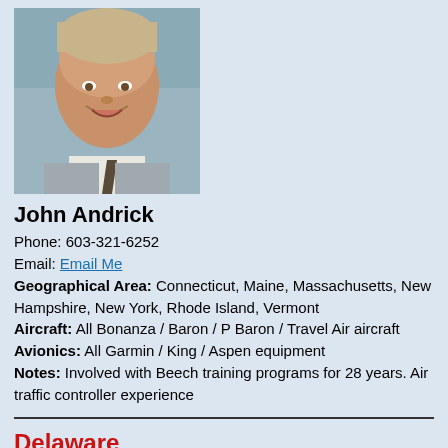[Figure (photo): Headshot photo of John Andrick, a middle-aged man smiling, wearing a light shirt and tie, outdoors background.]
John Andrick
Phone: 603-321-6252
Email: Email Me
Geographical Area: Connecticut, Maine, Massachusetts, New Hampshire, New York, Rhode Island, Vermont
Aircraft: All Bonanza / Baron / P Baron / Travel Air aircraft
Avionics: All Garmin / King / Aspen equipment
Notes: Involved with Beech training programs for 28 years. Air traffic controller experience
Delaware